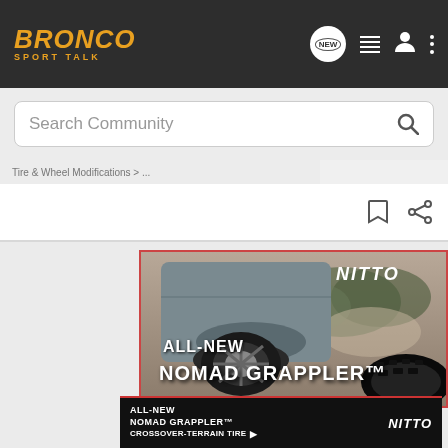BRONCO SPORT TALK
Search Community
[Figure (screenshot): Nitto Tire advertisement showing the All-New Nomad Grappler crossover-terrain tire. Top portion shows a gray SUV/crossover vehicle on a dirt road with NITTO logo in the upper right. Bottom portion shows ALL-NEW NOMAD GRAPPLER text over a close-up of the tire tread. A dark banner at the bottom reads ALL-NEW NOMAD GRAPPLER CROSSOVER-TERRAIN TIRE with a NITTO logo.]